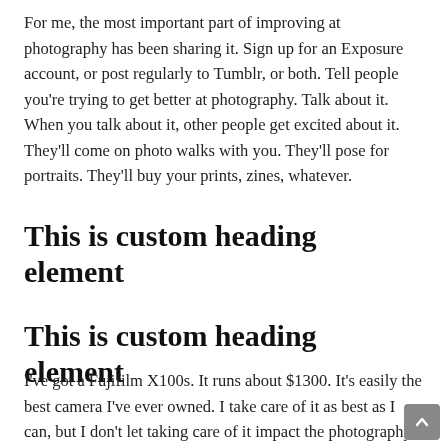For me, the most important part of improving at photography has been sharing it. Sign up for an Exposure account, or post regularly to Tumblr, or both. Tell people you're trying to get better at photography. Talk about it. When you talk about it, other people get excited about it. They'll come on photo walks with you. They'll pose for portraits. They'll buy your prints, zines, whatever.
This is custom heading element
This is custom heading element
I've got a Fujifilm X100s. It runs about $1300. It's easily the best camera I've ever owned. I take care of it as best as I can, but I don't let taking care of it impact the photography. Let me elaborate on that a bit better. You'll get better at each section of